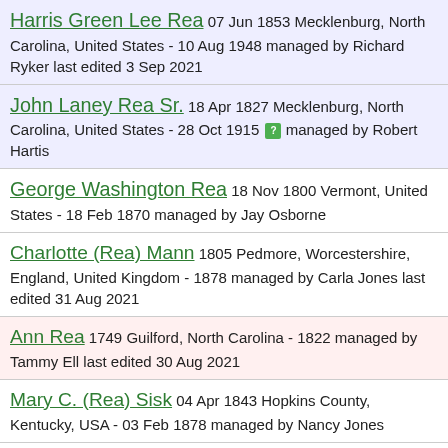Harris Green Lee Rea 07 Jun 1853 Mecklenburg, North Carolina, United States - 10 Aug 1948 managed by Richard Ryker last edited 3 Sep 2021
John Laney Rea Sr. 18 Apr 1827 Mecklenburg, North Carolina, United States - 28 Oct 1915 managed by Robert Hartis
George Washington Rea 18 Nov 1800 Vermont, United States - 18 Feb 1870 managed by Jay Osborne
Charlotte (Rea) Mann 1805 Pedmore, Worcestershire, England, United Kingdom - 1878 managed by Carla Jones last edited 31 Aug 2021
Ann Rea 1749 Guilford, North Carolina - 1822 managed by Tammy Ell last edited 30 Aug 2021
Mary C. (Rea) Sisk 04 Apr 1843 Hopkins County, Kentucky, USA - 03 Feb 1878 managed by Nancy Jones